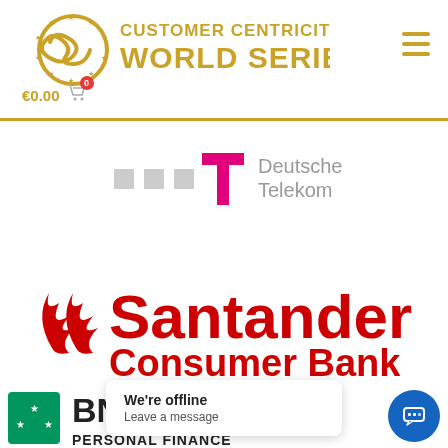[Figure (logo): Customer Centricity World Series logo with golden infinity symbol and text]
€0.00
[Figure (logo): Deutsche Telekom logo with magenta T symbol and grey squares]
[Figure (logo): Santander Consumer Bank logo in red]
[Figure (logo): BNP Paribas Personal Finance logo (partially visible)]
We're offline
Leave a message